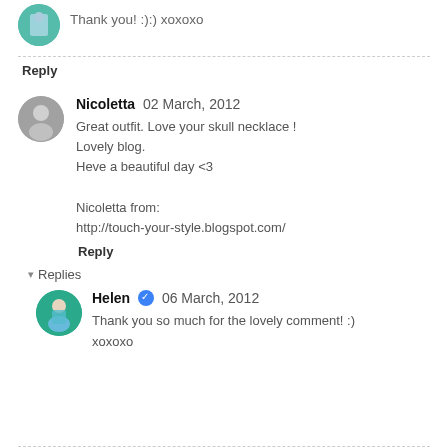[Figure (photo): Small circular avatar of a person in a patterned dress, partially cut off at top]
Thank you! :):) xoxoxo
Reply
[Figure (photo): Circular black and white avatar of a person]
Nicoletta  02 March, 2012
Great outfit. Love your skull necklace !
Lovely blog.
Heve a beautiful day <3

Nicoletta from:
http://touch-your-style.blogspot.com/
Reply
Replies
[Figure (photo): Circular teal/green avatar of Helen in a patterned dress]
Helen  06 March, 2012
Thank you so much for the lovely comment! :) xoxoxo